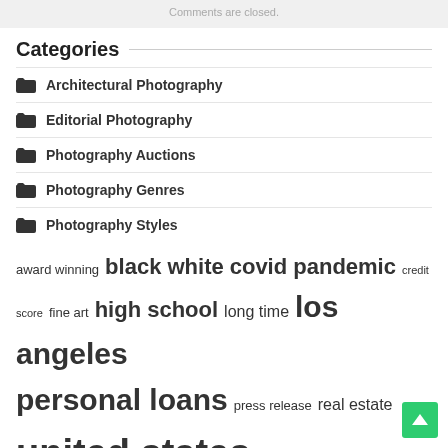Comments are closed.
Categories
Architectural Photography
Editorial Photography
Photography Auctions
Photography Genres
Photography Styles
award winning  black white  covid pandemic  credit score  fine art  high school  long time  los angeles  personal loans  press release  real estate  united states  wide range  works art  york city